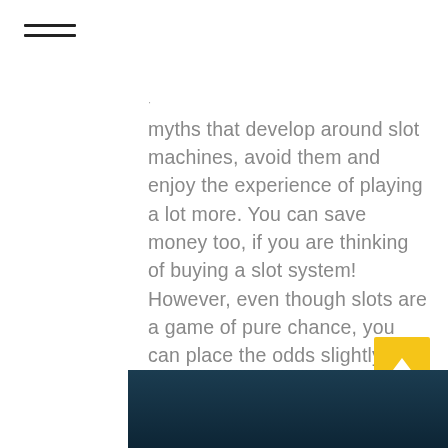[Figure (other): Hamburger menu icon — three horizontal black lines]
· myths that develop around slot machines, avoid them and enjoy the experience of playing a lot more. You can save money too, if you are thinking of buying a slot system! However, even though slots are a game of pure chance, you can place the odds slightly to your advantage by knowing the best number of coins, and the machines to play with....
READ MORE
[Figure (other): Scroll-to-top button — yellow/amber square with white upward arrow]
[Figure (photo): Bottom portion of a dark-background image showing a person]